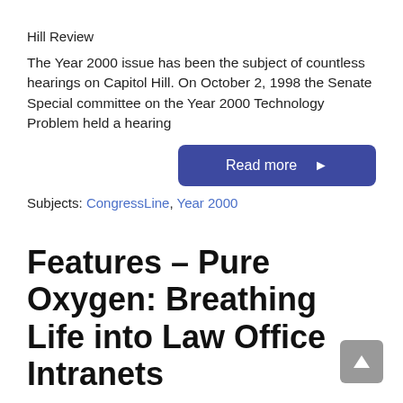Hill Review
The Year 2000 issue has been the subject of countless hearings on Capitol Hill. On October 2, 1998 the Senate Special committee on the Year 2000 Technology Problem held a hearing
Read more ▶
Subjects: CongressLine, Year 2000
Features – Pure Oxygen: Breathing Life into Law Office Intranets
By Stephen T. Maher, 15 Feb 1999